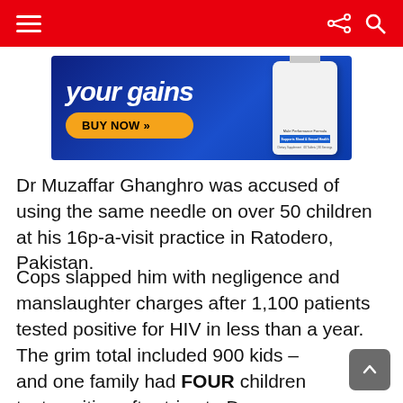Navigation header with hamburger menu, share icon, and search icon
[Figure (photo): Advertisement banner with blue background showing a 'BUY NOW >>' button in an orange pill shape and a white supplement bottle labeled 'Male Performance Formula', 'Supports Mood & Sexual Health']
Dr Muzaffar Ghanghro was accused of using the same needle on over 50 children at his 16p-a-visit practice in Ratodero, Pakistan.
Cops slapped him with negligence and manslaughter charges after 1,100 patients tested positive for HIV in less than a year.
The grim total included 900 kids – and one family had FOUR children test positive after trips to Dr Ghangro's clinic.